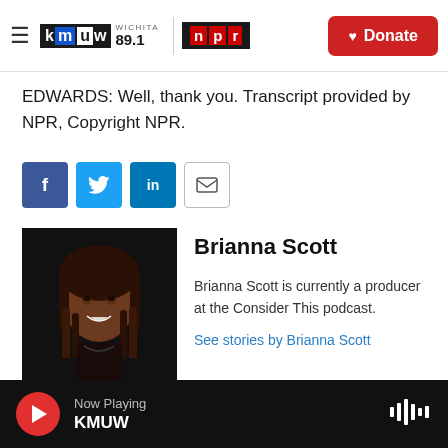KMUW Wichita 89.1 | NPR — Donate
EDWARDS: Well, thank you. Transcript provided by NPR, Copyright NPR.
[Figure (other): Social sharing buttons: Facebook, Twitter, LinkedIn, Email]
[Figure (photo): Headshot photo of Brianna Scott against dark background]
Brianna Scott
Brianna Scott is currently a producer at the Consider This podcast.
See stories by Brianna Scott
[Figure (photo): Partial thumbnail image at bottom of page]
Now Playing KMUW